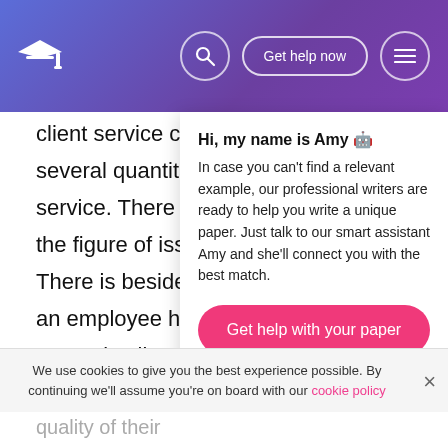Get help now
client service calls. Listen several quantitative steps service. There are clip ste the figure of issues handl There is besides the abilit an employee has resolve a certain clip period. Thou service if they are non be
Hi, my name is Amy 🤖
In case you can't find a relevant example, our professional writers are ready to help you write a unique paper. Just talk to our smart assistant Amy and she'll connect you with the best match.
Get help with your paper
Use recorded client service calls to find which employees need farther preparation on covering with clients based on their tone of voice and direct linguistic communication. Fully
We use cookies to give you the best experience possible. By continuing we'll assume you're on board with our cookie policy
and efficient in readings of service and the quality of their